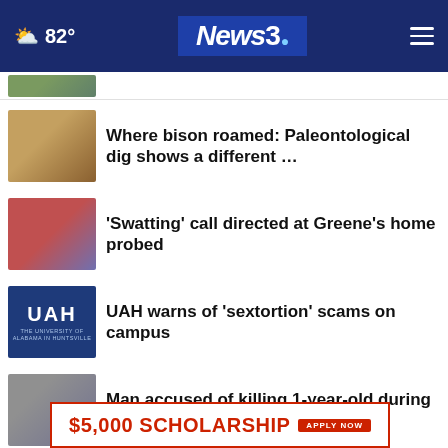☁ 82° News3 ☰
[partial image – top article, truncated]
Where bison roamed: Paleontological dig shows a different …
'Swatting' call directed at Greene's home probed
UAH warns of 'sextortion' scams on campus
Man accused of killing 1-year-old during bath: TPD
Biden announces student loan forgiveness plan
in Anderson …
[Figure (screenshot): Advertisement: $5,000 SCHOLARSHIP – APPLY NOW]